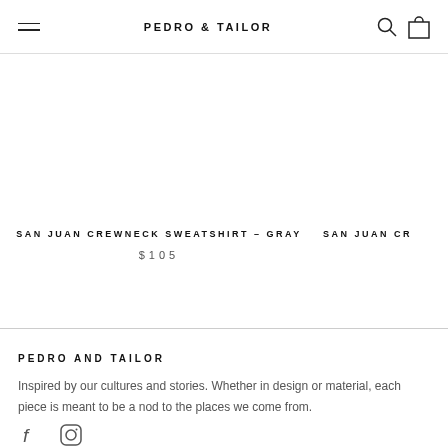PEDRO & TAILOR
SAN JUAN CREWNECK SWEATSHIRT - GRAY
$105
SAN JUAN CR
PEDRO AND TAILOR
Inspired by our cultures and stories. Whether in design or material, each piece is meant to be a nod to the places we come from.
[Figure (other): Social media icons: Facebook (f) and Instagram (circle with square inside)]